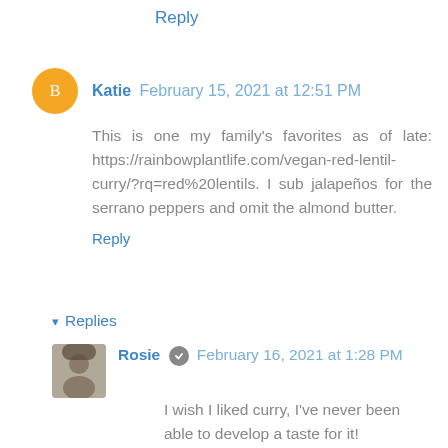Reply
Katie  February 15, 2021 at 12:51 PM
This is one my family's favorites as of late: https://rainbowplantlife.com/vegan-red-lentil-curry/?rq=red%20lentils. I sub jalapeños for the serrano peppers and omit the almond butter.
Reply
▾ Replies
Rosie  February 16, 2021 at 1:28 PM
I wish I liked curry, I've never been able to develop a taste for it!